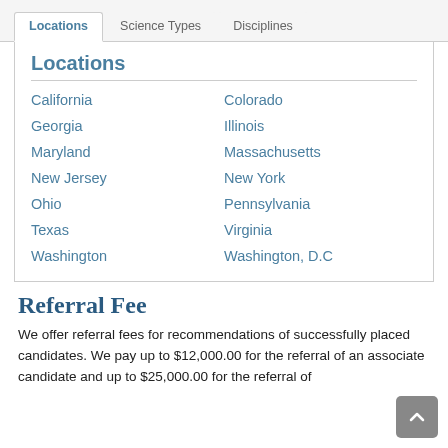Locations | Science Types | Disciplines
Locations
California
Colorado
Georgia
Illinois
Maryland
Massachusetts
New Jersey
New York
Ohio
Pennsylvania
Texas
Virginia
Washington
Washington, D.C
Referral Fee
We offer referral fees for recommendations of successfully placed candidates. We pay up to $12,000.00 for the referral of an associate candidate and up to $25,000.00 for the referral of